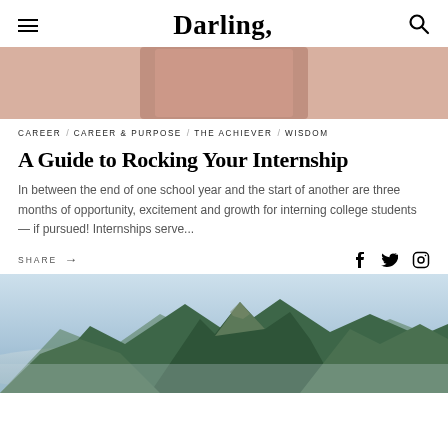Darling,
[Figure (photo): Partial view of a pink/blush-toned image, likely a person or object with pink tones, cropped at top]
CAREER / CAREER & PURPOSE / THE ACHIEVER / WISDOM
A Guide to Rocking Your Internship
In between the end of one school year and the start of another are three months of opportunity, excitement and growth for interning college students — if pursued! Internships serve...
SHARE →
[Figure (photo): Aerial/landscape photo of mountain peaks rising above clouds or mist, with green vegetation visible, blue sky in background]